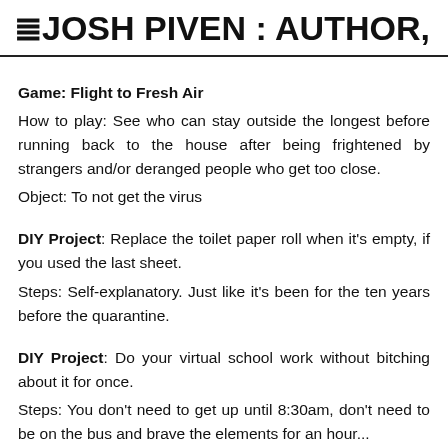≡JOSH PIVEN : AUTHOR,
Game: Flight to Fresh Air
How to play: See who can stay outside the longest before running back to the house after being frightened by strangers and/or deranged people who get too close.
Object: To not get the virus
DIY Project: Replace the toilet paper roll when it's empty, if you used the last sheet.
Steps: Self-explanatory. Just like it's been for the ten years before the quarantine.
DIY Project: Do your virtual school work without bitching about it for once.
Steps: You don't need to get up until 8:30am, don't need to be on the bus and brave the elements for an hour...